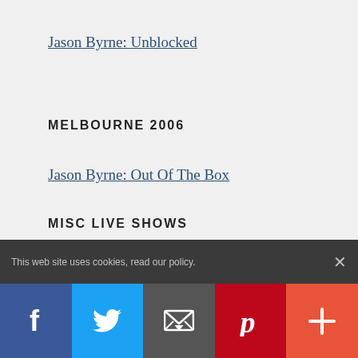Jason Byrne: Unblocked
MELBOURNE 2006
Jason Byrne: Out Of The Box
MISC LIVE SHOWS
Channel 4 Comedy Gala 2011
Leicester Comedy Festival Preview Show 2008
Pimm's Summerfest
This web site uses cookies, read our policy.
Facebook, Twitter, Email, Pinterest, More